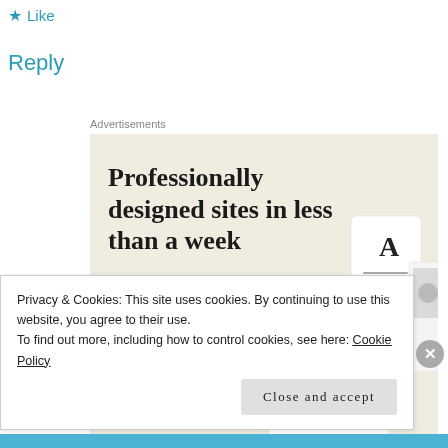★ Like
Reply
Advertisements
[Figure (screenshot): Advertisement banner with beige background showing text 'Professionally designed sites in less than a week', a green 'Explore options' button, and mockup images of website pages.]
Privacy & Cookies: This site uses cookies. By continuing to use this website, you agree to their use.
To find out more, including how to control cookies, see here: Cookie Policy
Close and accept